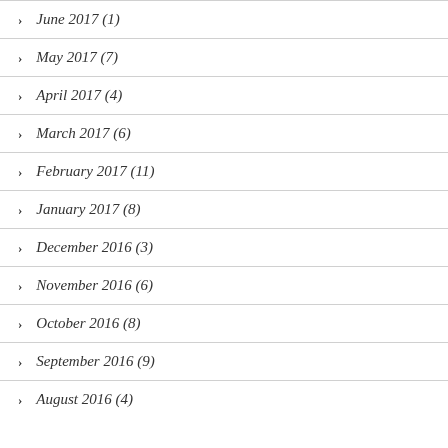June 2017 (1)
May 2017 (7)
April 2017 (4)
March 2017 (6)
February 2017 (11)
January 2017 (8)
December 2016 (3)
November 2016 (6)
October 2016 (8)
September 2016 (9)
August 2016 (4)